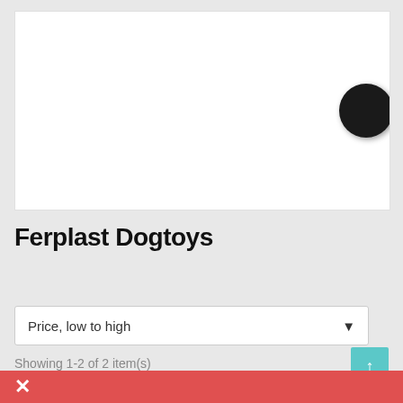[Figure (photo): White product display box with a partial view of a dark/black round dog toy visible on the right edge]
Ferplast Dogtoys
Price, low to high
Showing 1-2 of 2 item(s)